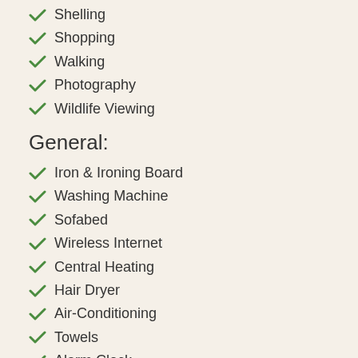Shelling
Shopping
Walking
Photography
Wildlife Viewing
General:
Iron & Ironing Board
Washing Machine
Sofabed
Wireless Internet
Central Heating
Hair Dryer
Air-Conditioning
Towels
Alarm Clock
Ceiling Fans
Linens
Telephone
Dryer
Crib
Internet
Truck/RV Parking